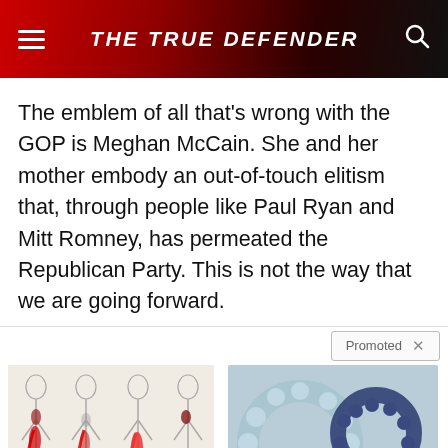THE TRUE DEFENDER
The emblem of all that's wrong with the GOP is Meghan McCain. She and her mother embody an out-of-touch elitism that, through people like Paul Ryan and Mitt Romney, has permeated the Republican Party. This is not the way that we are going forward.
[Figure (illustration): Promoted label with X close button]
[Figure (illustration): Medical illustration showing four human figures with sciatic nerve pain highlighted in red along the spine and leg]
Are You Suffering From Chronic Sciatic Nerve Pain? (Find Out Why)
[Figure (photo): Photo of light blue, orange, and dark blue rubber ring/wearable device for ED treatment]
Treat ED With Eddie — The Proven, Comfortable Wearable That Comes With A Satisfaction Guarantee
🔥 83,741